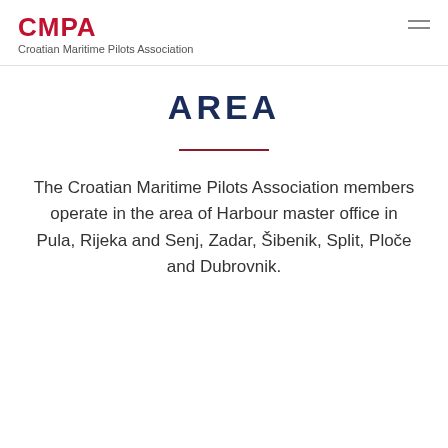CMPA
Croatian Maritime Pilots Association
AREA
The Croatian Maritime Pilots Association members operate in the area of Harbour master office in Pula, Rijeka and Senj, Zadar, Šibenik, Split, Ploče and Dubrovnik.